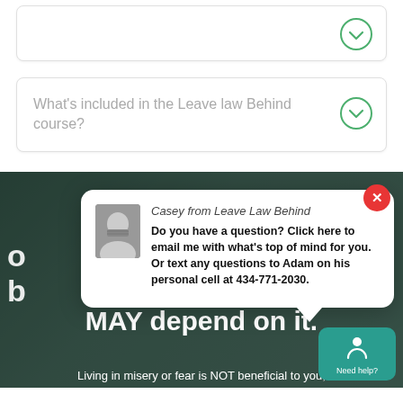(partial top card - truncated)
What's included in the Leave law Behind course?
[Figure (screenshot): Hero section with dark overlay showing partial white bold text 'or... b...' and 'MAY depend on it.' with subtext 'Living in misery or fear is NOT beneficial to you,']
Casey from Leave Law Behind
Do you have a question? Click here to email me with what's top of mind for you. Or text any questions to Adam on his personal cell at 434-771-2030.